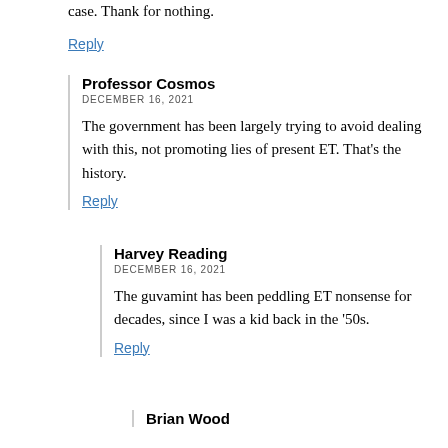case. Thank for nothing.
Reply
Professor Cosmos
DECEMBER 16, 2021
The government has been largely trying to avoid dealing with this, not promoting lies of present ET. That’s the history.
Reply
Harvey Reading
DECEMBER 16, 2021
The guvamint has been peddling ET nonsense for decades, since I was a kid back in the ’50s.
Reply
Brian Wood